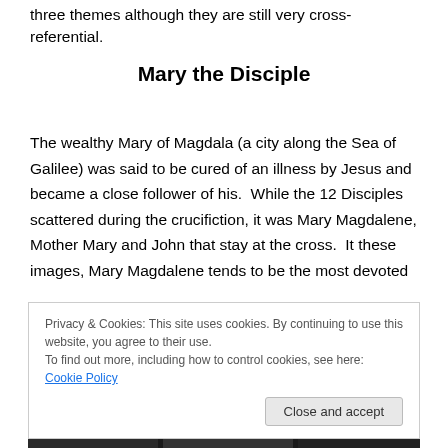three themes although they are still very cross-referential.
Mary the Disciple
The wealthy Mary of Magdala (a city along the Sea of Galilee) was said to be cured of an illness by Jesus and became a close follower of his.  While the 12 Disciples scattered during the crucifiction, it was Mary Magdalene, Mother Mary and John that stay at the cross.  It these images, Mary Magdalene tends to be the most devoted
Privacy & Cookies: This site uses cookies. By continuing to use this website, you agree to their use.
To find out more, including how to control cookies, see here: Cookie Policy
[Figure (photo): Bottom strip showing a photo, partially visible, of people or figures.]